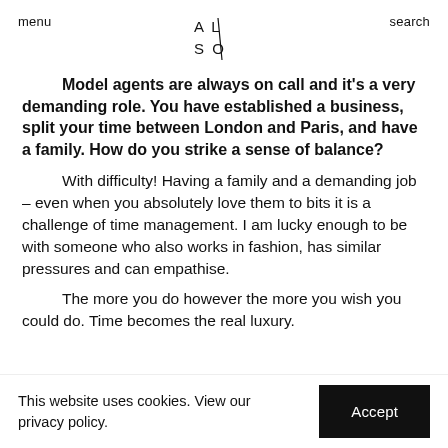menu   AL/SO   search
Model agents are always on call and it's a very demanding role. You have established a business, split your time between London and Paris, and have a family. How do you strike a sense of balance?
With difficulty! Having a family and a demanding job – even when you absolutely love them to bits it is a challenge of time management. I am lucky enough to be with someone who also works in fashion, has similar pressures and can empathise.
The more you do however the more you wish you could do. Time becomes the real luxury.
This website uses cookies. View our privacy policy.